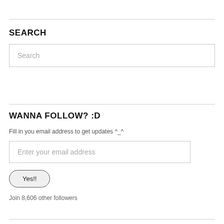SEARCH
[Figure (other): Search input box with placeholder text 'Search']
WANNA FOLLOW? :D
Fill in you email address to get updates ^_^
[Figure (other): Email input box with placeholder 'Enter your email address' and a 'Yes!!' button]
Join 8,606 other followers